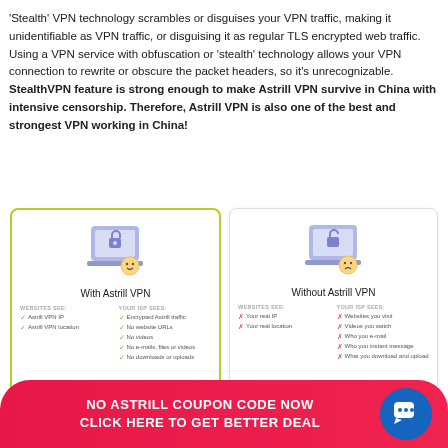'Stealth' VPN technology scrambles or disguises your VPN traffic, making it unidentifiable as VPN traffic, or disguising it as regular TLS encrypted web traffic. Using a VPN service with obfuscation or 'stealth' technology allows your VPN connection to rewrite or obscure the packet headers, so it's unrecognizable. StealthVPN feature is strong enough to make Astrill VPN survive in China with intensive censorship. Therefore, Astrill VPN is also one of the best and strongest VPN working in China!
[Figure (infographic): Two side-by-side comparison boxes: 'With Astrill VPN' (highlighted with yellow-green border, shows happy laptop icon, two columns listing what websites see vs what your ISP sees with green checkmarks) and 'Without Astrill VPN' (shows sad laptop icon, two columns with red X marks showing exposed information)]
NO ASTRILL COUPON CODE NOW CLICK HERE TO GET BETTER DEAL